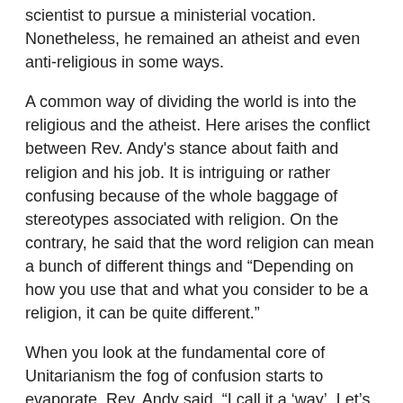scientist to pursue a ministerial vocation. Nonetheless, he remained an atheist and even anti-religious in some ways.
A common way of dividing the world is into the religious and the atheist. Here arises the conflict between Rev. Andy's stance about faith and religion and his job. It is intriguing or rather confusing because of the whole baggage of stereotypes associated with religion. On the contrary, he said that the word religion can mean a bunch of different things and “Depending on how you use that and what you consider to be a religion, it can be quite different.”
When you look at the fundamental core of Unitarianism the fog of confusion starts to evaporate. Rev. Andy said, “I call it a ‘way’. Let’s call it a way. It’s not ‘We are all going to believe the same thing’. It’s about moving together, growing together, working together and making ourselves grow and the world more whole”. It’s clear that the emphasis of Unitarianism lies on being a better person, being in a community and making a better world without the dogma.
As it seems, Unitarians are encouraged to ‘believe what they want to believe’ but Rev. Andy differed. He argued that this is